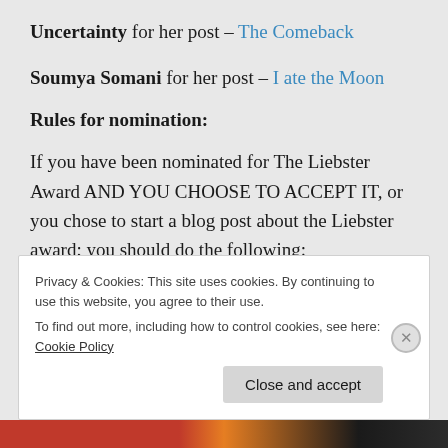Uncertainty for her post – The Comeback
Soumya Somani for her post – I ate the Moon
Rules for nomination:
If you have been nominated for The Liebster Award AND YOU CHOOSE TO ACCEPT IT, or you chose to start a blog post about the Liebster award; you should do the following:
Privacy & Cookies: This site uses cookies. By continuing to use this website, you agree to their use.
To find out more, including how to control cookies, see here: Cookie Policy